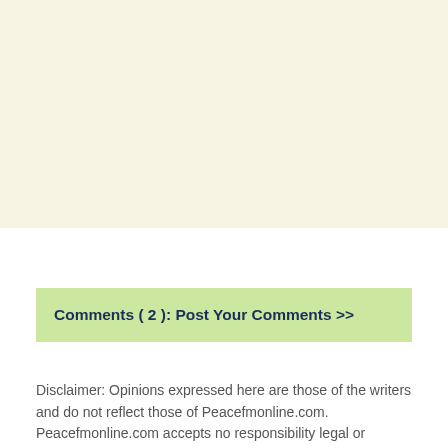[Figure (other): Large cream/beige colored background block occupying the top half of the page]
Comments ( 2 ): Post Your Comments >>
Disclaimer: Opinions expressed here are those of the writers and do not reflect those of Peacefmonline.com. Peacefmonline.com accepts no responsibility legal or otherwise for their accuracy of content. Please report any inaccuracies to us and we will correct it.